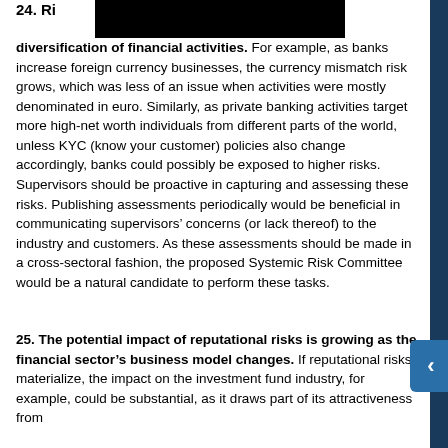24. Risks related to geographical and product diversification of financial activities.
For example, as banks increase foreign currency businesses, the currency mismatch risk grows, which was less of an issue when activities were mostly denominated in euro. Similarly, as private banking activities target more high-net worth individuals from different parts of the world, unless KYC (know your customer) policies also change accordingly, banks could possibly be exposed to higher risks. Supervisors should be proactive in capturing and assessing these risks. Publishing assessments periodically would be beneficial in communicating supervisors’ concerns (or lack thereof) to the industry and customers. As these assessments should be made in a cross-sectoral fashion, the proposed Systemic Risk Committee would be a natural candidate to perform these tasks.
25. The potential impact of reputational risks is growing as the financial sector’s business model changes.
If reputational risks materialize, the impact on the investment fund industry, for example, could be substantial, as it draws part of its attractiveness from